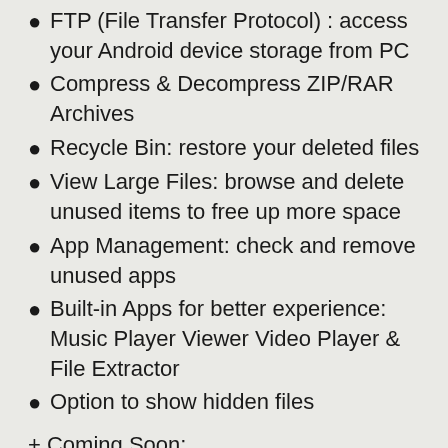FTP (File Transfer Protocol) : access your Android device storage from PC
Compress & Decompress ZIP/RAR Archives
Recycle Bin: restore your deleted files
View Large Files: browse and delete unused items to free up more space
App Management: check and remove unused apps
Built-in Apps for better experience: Music Player Viewer Video Player & File Extractor
Option to show hidden files
+ Coming Soon:
– Enhanced remote access including SMB NAS
– File sharing
– File downloading